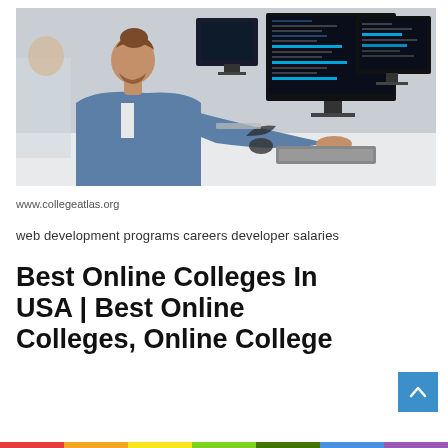[Figure (photo): A young man with a bun hairstyle and beard wearing a denim jacket, sitting at a desk working on multiple computer monitors displaying code/dark screens in an office environment.]
www.collegeatlas.org
web development programs careers developer salaries
Best Online Colleges In USA | Best Online Colleges, Online College